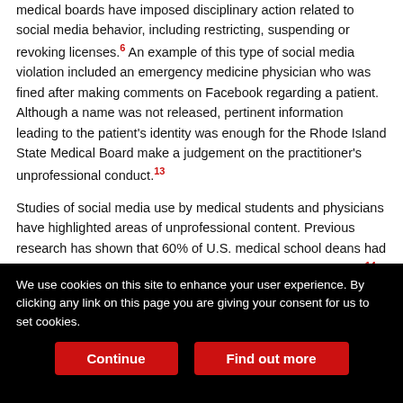medical boards have imposed disciplinary action related to social media behavior, including restricting, suspending or revoking licenses.6 An example of this type of social media violation included an emergency medicine physician who was fined after making comments on Facebook regarding a patient. Although a name was not released, pertinent information leading to the patient's identity was enough for the Rhode Island State Medical Board make a judgement on the practitioner's unprofessional conduct.13
Studies of social media use by medical students and physicians have highlighted areas of unprofessional content. Previous research has shown that 60% of U.S. medical school deans had concerns regarding students posting unprofessional content.14 Greysen et al
We use cookies on this site to enhance your user experience. By clicking any link on this page you are giving your consent for us to set cookies.